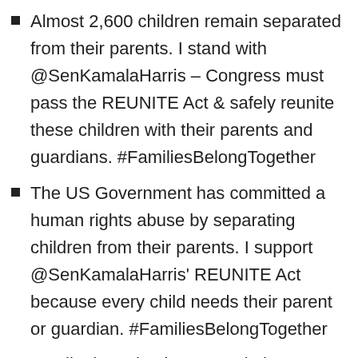Almost 2,600 children remain separated from their parents. I stand with @SenKamalaHarris – Congress must pass the REUNITE Act & safely reunite these children with their parents and guardians. #FamiliesBelongTogether
The US Government has committed a human rights abuse by separating children from their parents. I support @SenKamalaHarris' REUNITE Act because every child needs their parent or guardian. #FamiliesBelongTogether
Family detention is not a solution to family separation which is why I support